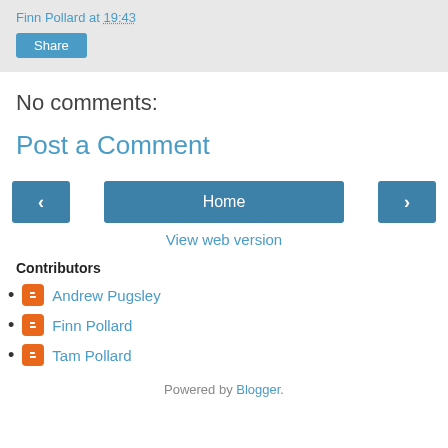Finn Pollard at 19:43
Share
No comments:
Post a Comment
[Figure (other): Navigation row with left arrow, Home button, and right arrow]
View web version
Contributors
Andrew Pugsley
Finn Pollard
Tam Pollard
Powered by Blogger.